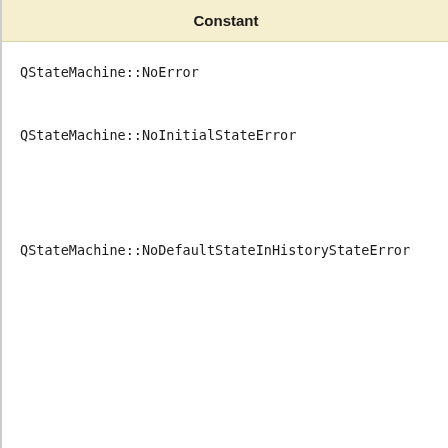| Constant |
| --- |
| QStateMachine::NoError |
| QStateMachine::NoInitialStateError |
| QStateMachine::NoDefaultStateInHistoryStateError |